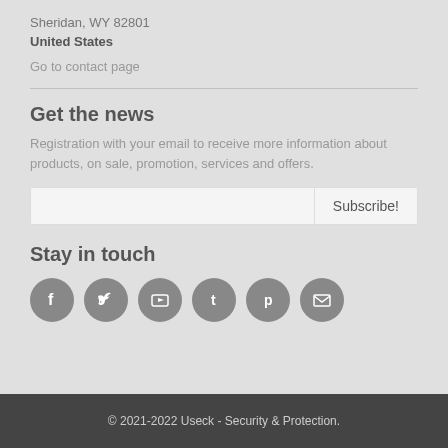Sheridan, WY 82801
United States
Go to contact page
Get the news
Registration with your email to receive more information about products, on sale, promotion, services and offers.
[Figure (other): Email subscription input box with Subscribe! button]
Stay in touch
[Figure (infographic): Row of six circular social media icons: Facebook, Twitter, YouTube, Tumblr, Pinterest, Email]
© 2021-2022 Useck - Security & Protection.